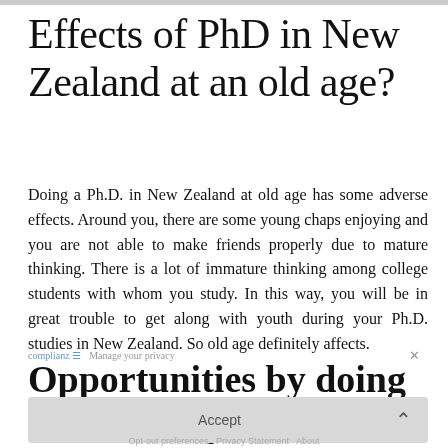Effects of PhD in New Zealand at an old age?
Doing a Ph.D. in New Zealand at old age has some adverse effects. Around you, there are some young chaps enjoying and you are not able to make friends properly due to mature thinking. There is a lot of immature thinking among college students with whom you study. In this way, you will be in great trouble to get along with youth during your Ph.D. studies in New Zealand. So old age definitely affects.
Opportunities by doing a PhD lately
Yes doing Ph.D. in New Zealand at any age will fetch you a